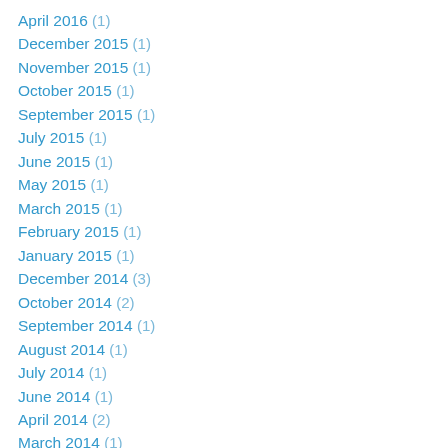April 2016 (1)
December 2015 (1)
November 2015 (1)
October 2015 (1)
September 2015 (1)
July 2015 (1)
June 2015 (1)
May 2015 (1)
March 2015 (1)
February 2015 (1)
January 2015 (1)
December 2014 (3)
October 2014 (2)
September 2014 (1)
August 2014 (1)
July 2014 (1)
June 2014 (1)
April 2014 (2)
March 2014 (1)
February 2014 (1)